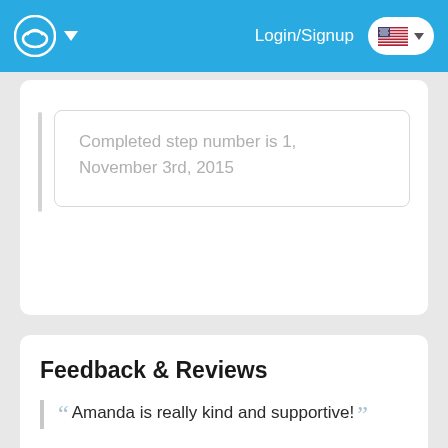Login/Signup
Completed step number is 1, November 3rd, 2015
Feedback & Reviews
Amanda is really kind and supportive!
Awesome person she really helped me a lot.
Amanda was extremely caring in our conversation. She made me feel not so alone in my situation, and she really listened. She seems like more of a friend then just someone